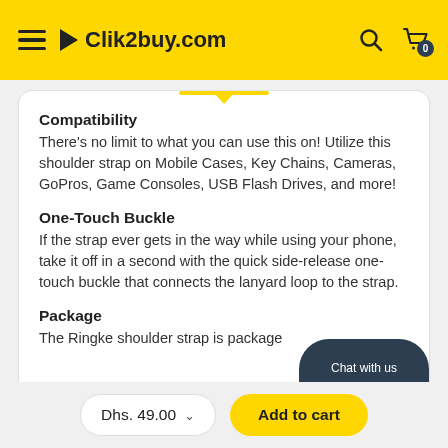Clik2buy.com
Compatibility
There's no limit to what you can use this on! Utilize this shoulder strap on Mobile Cases, Key Chains, Cameras, GoPros, Game Consoles, USB Flash Drives, and more!
One-Touch Buckle
If the strap ever gets in the way while using your phone, take it off in a second with the quick side-release one-touch buckle that connects the lanyard loop to the strap.
Package
The Ringke shoulder strap is package
Dhs. 49.00
Add to cart